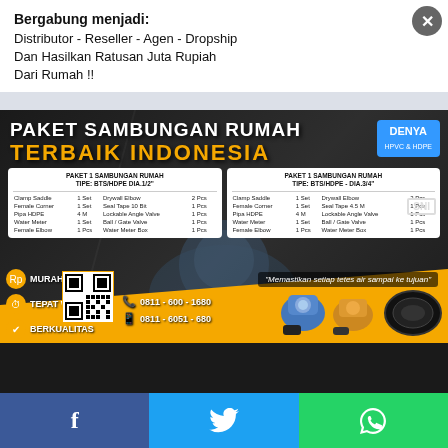Bergabung menjadi:
Distributor - Reseller - Agen - Dropship
Dan Hasilkan Ratusan Juta Rupiah
Dari Rumah !!
[Figure (infographic): Indonesian home connection package (Paket Sambungan Rumah) advertisement for DENYA brand HDPE/BTS pipes. Shows two product packages: PAKET 1 SAMBUNGAN RUMAH TIPE: BTS/HDPE DIA.1/2" and PAKET 1 SAMBUNGAN RUMAH TIPE: BTS/HDPE - DIA.3/4". Contains QR code, phone numbers 0811-600-1680 and 0811-6051-680, icons for MURAH, TEPAT WAKTU, BERKUALITAS, tagline 'Memastikan setiap tetes air sampai ke tujuan', SNI badge and product photos of pipes and meters.]
Facebook | Twitter | WhatsApp